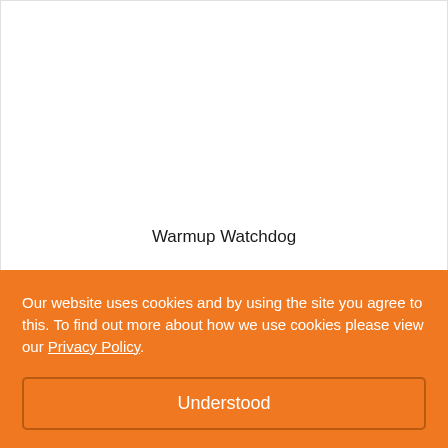Warmup Watchdog
£9.99
[Figure (photo): Partial view of an outdoor photo showing trees and warm-toned background, partially obscured by cookie banner]
Our website uses cookies and by using the site you agree to this. To find out more about how we use cookies please view our Privacy Policy.
Understood